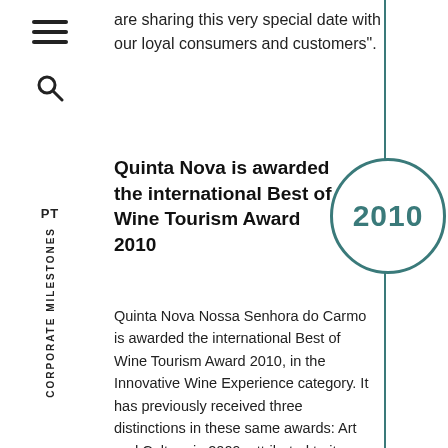are sharing this very special date with our loyal consumers and customers".
Quinta Nova is awarded the international Best of Wine Tourism Award 2010
[Figure (infographic): Circle with year 2010 in teal color, part of a timeline]
Quinta Nova Nossa Senhora do Carmo is awarded the international Best of Wine Tourism Award 2010, in the Innovative Wine Experience category. It has previously received three distinctions in these same awards: Art and Culture in 2009, attributed to its wine tourism project in Pinhão railway station; Architecture, Parks and Gardens, in 2008;